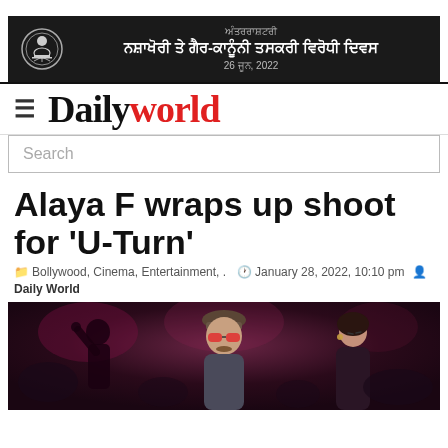[Figure (other): Dark banner with government emblem on left, Punjabi text in center reading anti-drug trafficking day notice, dated 26 June 2022]
Daily world — navigation bar with hamburger menu and logo
Search
Alaya F wraps up shoot for 'U-Turn'
Bollywood, Cinema, Entertainment, .   January 28, 2022, 10:10 pm   Daily World
[Figure (photo): Photo of people at a party, central figure is a man with a beanie hat and pink/red sunglasses, a woman with dark hair to the right]